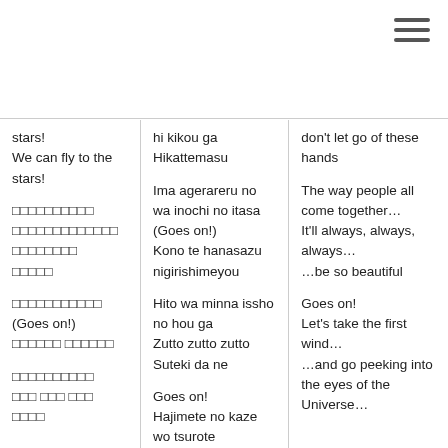[Figure (other): Hamburger menu icon (three horizontal lines) in top-right corner]
stars!
We can fly to the stars!

□□□□□□□□□□
□□□□□□□□□□□□□
□□□□□□□□
□□□□□

□□□□□□□□□□□
(Goes on!)
□□□□□□ □□□□□□

□□□□□□□□□□
□□□ □□□ □□□
□□□□
hi kikou ga
Hikattemasu

Ima agerareru no wa inochi no itasa
(Goes on!)
Kono te hanasazu nigirishimeyou

Hito wa minna issho no hou ga
Zutto zutto zutto
Suteki da ne

Goes on!
Hajimete no kaze wo tsurote
don't let go of these hands

The way people all come together…
It'll always, always, always…
…be so beautiful

Goes on!
Let's take the first wind…
…and go peeking into the eyes of the Universe…